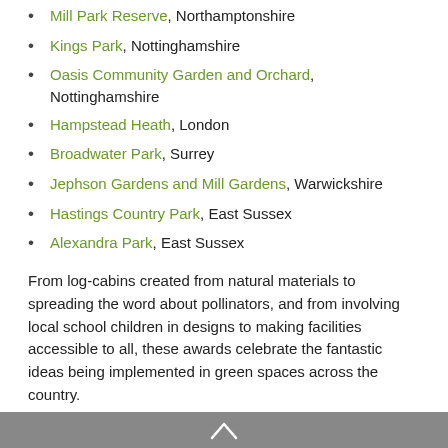Mill Park Reserve, Northamptonshire
Kings Park, Nottinghamshire
Oasis Community Garden and Orchard, Nottinghamshire
Hampstead Heath, London
Broadwater Park, Surrey
Jephson Gardens and Mill Gardens, Warwickshire
Hastings Country Park, East Sussex
Alexandra Park, East Sussex
From log-cabins created from natural materials to spreading the word about pollinators, and from involving local school children in designs to making facilities accessible to all, these awards celebrate the fantastic ideas being implemented in green spaces across the country.
Congratulations to our eight hugely deserving winners, over the coming weeks we'll be sharing their stories and showing you the amazing ways they are using innovation to improve their spaces for people and wildlife.